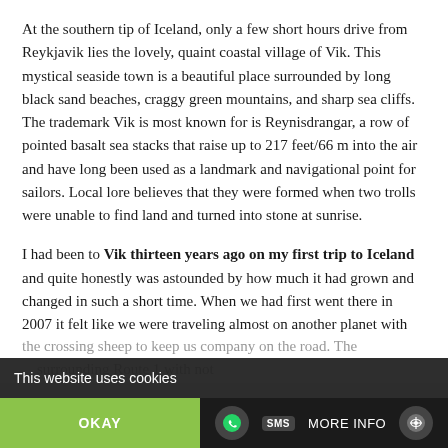At the southern tip of Iceland, only a few short hours drive from Reykjavik lies the lovely, quaint coastal village of Vik. This mystical seaside town is a beautiful place surrounded by long black sand beaches, craggy green mountains, and sharp sea cliffs.  The trademark Vik is most known for is Reynisdrangar, a row of pointed basalt sea stacks that raise up to 217 feet/66 m into the air and have long been used as a landmark and navigational point for sailors. Local lore believes that they were formed when two trolls were unable to find land and turned into stone at sunrise.
I had been to Vik thirteen years ago on my first trip to Iceland and quite honestly was astounded by how much it had grown and changed in such a short time. When we had first went there in 2007 it felt like we were traveling almost on another planet with barely another car in sight and only the crossing sheep to keep us company on the road. The [text continues below cookie overlay] surrounding Route 1 with not [text cut off]
This website uses cookies
OKAY
MORE INFO